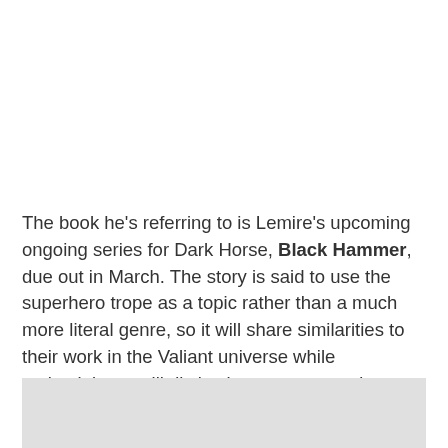The book he's referring to is Lemire's upcoming ongoing series for Dark Horse, Black Hammer, due out in March. The story is said to use the superhero trope as a topic rather than a much more literal genre, so it will share similarities to their work in the Valiant universe while maintaining a still distinctly creator-owned aesthetic.
[Figure (photo): Gray image placeholder area at bottom of page]